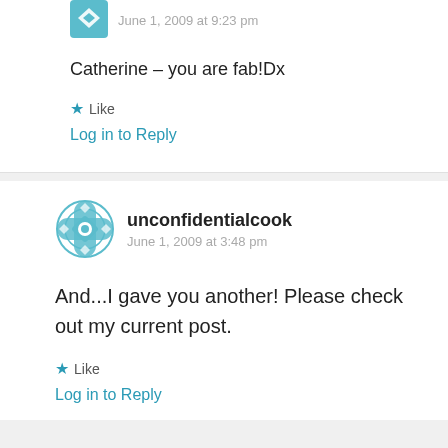June 1, 2009 at 9:23 pm
Catherine – you are fab!Dx
Like
Log in to Reply
unconfidentialcook
June 1, 2009 at 3:48 pm
And...I gave you another! Please check out my current post.
Like
Log in to Reply